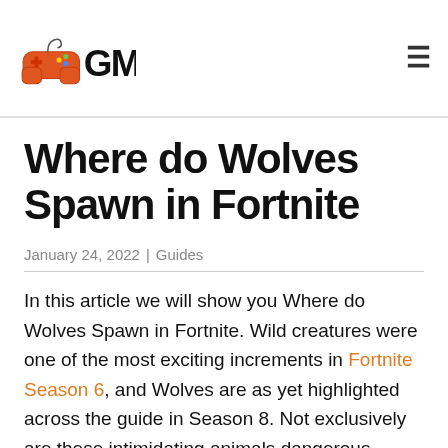GM (logo) | hamburger menu
Where do Wolves Spawn in Fortnite
January 24, 2022 |  Guides
In this article we will show you Where do Wolves Spawn in Fortnite. Wild creatures were one of the most exciting increments in Fortnite Season 6, and Wolves are as yet highlighted across the guide in Season 8. Not exclusively are these intimidating animals dangerous